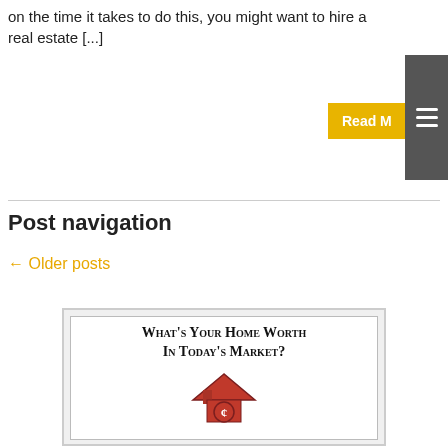on the time it takes to do this, you might want to hire a real estate [...]
← Older posts
Post navigation
[Figure (illustration): Advertisement banner with text 'What's Your Home Worth In Today's Market?' and a red 3D house icon with a dollar sign, inside a double-bordered box.]